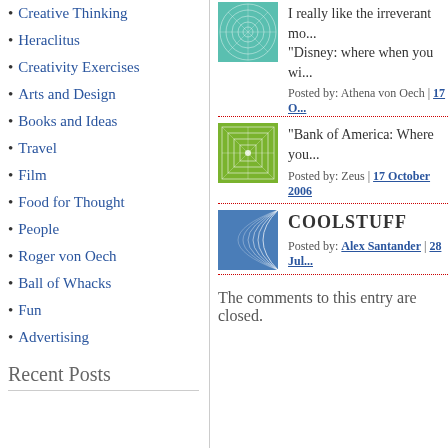Creative Thinking
Heraclitus
Creativity Exercises
Arts and Design
Books and Ideas
Travel
Film
Food for Thought
People
Roger von Oech
Ball of Whacks
Fun
Advertising
Recent Posts
[Figure (illustration): Teal/green circular fractal pattern thumbnail]
I really like the irreverant mo... "Disney: where when you wi...
Posted by: Athena von Oech | 17 O...
[Figure (illustration): Green geometric grid pattern thumbnail]
"Bank of America: Where you...
Posted by: Zeus | 17 October 2006
[Figure (illustration): Blue curved lines pattern thumbnail]
COOLSTUFF
Posted by: Alex Santander | 28 Jul...
The comments to this entry are closed.